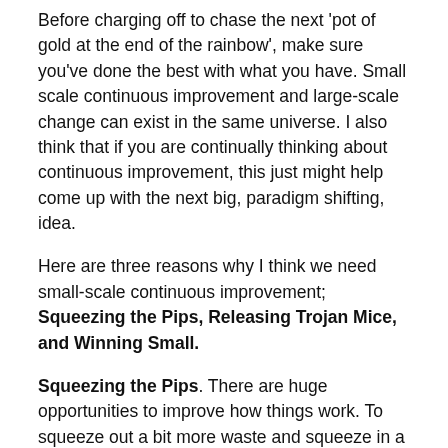Before charging off to chase the next 'pot of gold at the end of the rainbow', make sure you've done the best with what you have. Small scale continuous improvement and large-scale change can exist in the same universe. I also think that if you are continually thinking about continuous improvement, this just might help come up with the next big, paradigm shifting, idea.
Here are three reasons why I think we need small-scale continuous improvement; Squeezing the Pips, Releasing Trojan Mice, and Winning Small.
Squeezing the Pips. There are huge opportunities to improve how things work. To squeeze out a bit more waste and squeeze in a bit more customer focus. To squeeze out a few more of the time-wasting meetings and squeeze in a bit more product improvement. If this wasn't true, there